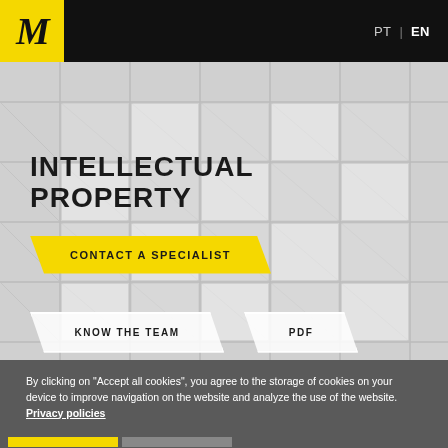[Figure (logo): Black M letter logo on yellow background in navigation bar]
PT | EN
[Figure (photo): Architectural background showing a grid of glass windows in grayscale]
INTELLECTUAL PROPERTY
CONTACT A SPECIALIST
KNOW THE TEAM
PDF
TOPICS
By clicking on "Accept all cookies", you agree to the storage of cookies on your device to improve navigation on the website and analyze the use of the website. Privacy policies